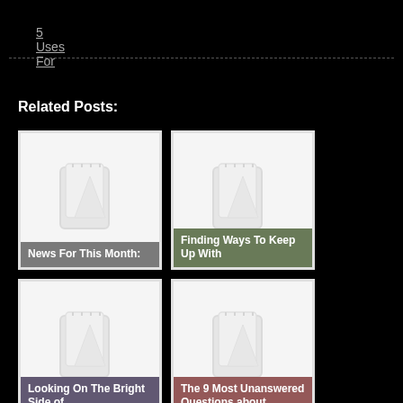5 Uses For
Related Posts:
[Figure (illustration): Notebook placeholder image for 'News For This Month:' post card]
News For This Month:
[Figure (illustration): Notebook placeholder image for 'Finding Ways To Keep Up With' post card]
Finding Ways To Keep Up With
[Figure (illustration): Notebook placeholder image for 'Looking On The Bright Side of' post card]
Looking On The Bright Side of
[Figure (illustration): Notebook placeholder image for 'The 9 Most Unanswered Questions about' post card]
The 9 Most Unanswered Questions about